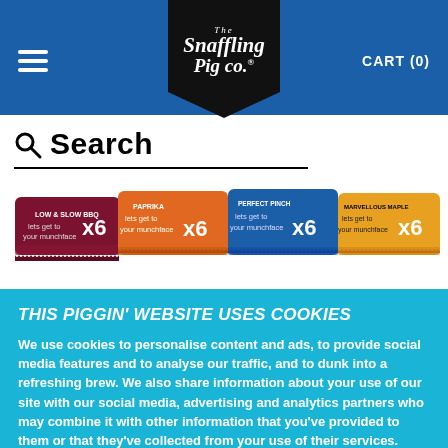The Snaffling Pig Co. — CART (0)
Search
[Figure (photo): Row of Snaffling Pig Co. pork rind snack packs in four flavours: Low & Slow BBQ (dark red), Paprika (orange), Perfect Pinch (blue), and Marvellous Maple (yellow/orange), each marked x6]
THIS PIGGIN' WEBSITE USES COOKIES
We use cookies to personalise content and ads, to provide social media features and to analyse our traffic, and to dunk into a refreshing brew. We also share information about your use of our site with our social media, advertising and analytics partners who may combine it with other information that you've provided to them or that they've collected from your use of their services.
Allow all cookies